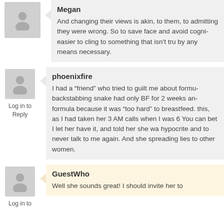Megan
And changing their views is akin, to them, to admitting they were wrong. So to save face and avoid cognitive dissonance, it's easier to cling to something that isn't true and defend it by any means necessary.
phoenixfire
Log in to Reply
I had a “friend” who tried to guilt me about formula. This backstabbing snake had only BF for 2 weeks and then used formula because it was “too hard” to breastfeed. She knew all this, as I had taken her 3 AM calls when I was 6 months PP. You can bet I let her have it, and told her she was a hypocrite and to never talk to me again. And she was still spreading lies to other women.
GuestWho
Log in to
Well she sounds great! I should invite her to